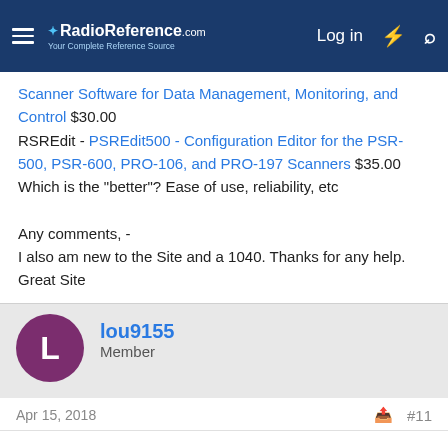RadioReference.com — Log in
Scanner Software for Data Management, Monitoring, and Control $30.00
RSREdit - PSREdit500 - Configuration Editor for the PSR-500, PSR-600, PRO-106, and PRO-197 Scanners $35.00
Which is the "better"? Ease of use, reliability, etc

Any comments, -
I also am new to the Site and a 1040. Thanks for any help.
Great Site
lou9155
Member
Apr 15, 2018  #11
i just cant understand why people dont do their homework before buying such an expensive piece of electronics. its not as if you go to a store and pluck a scanner off the shelf . you have to buy on internet . any site that sells these scanners has all the